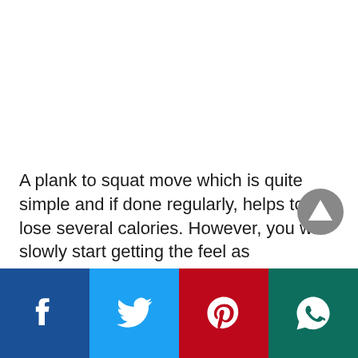A plank to squat move which is quite simple and if done regularly, helps to lose several calories. However, you will slowly start getting the feel as
[Figure (other): Social media share bar with Facebook, Twitter, Pinterest, and WhatsApp buttons]